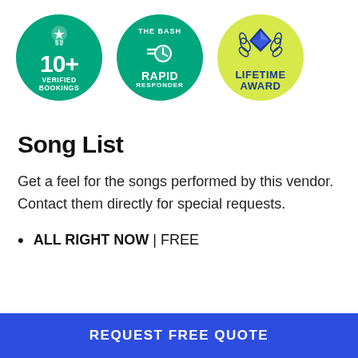[Figure (infographic): Three circular badge icons: (1) green circle with medal icon showing '10+ VERIFIED BOOKINGS', (2) green circle with 'THE BASH' text and clock icon showing 'RAPID RESPONDER', (3) yellow-green circle with diamond and laurel icon showing 'LIFETIME AWARD']
Song List
Get a feel for the songs performed by this vendor. Contact them directly for special requests.
ALL RIGHT NOW | FREE
REQUEST FREE QUOTE